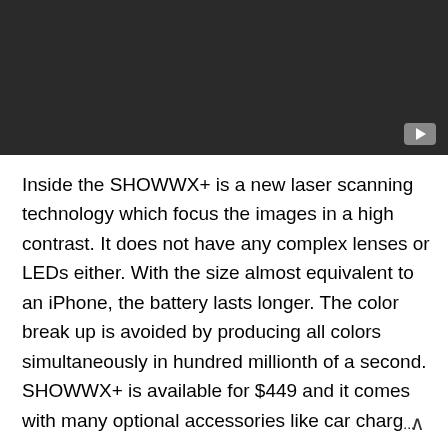[Figure (screenshot): Dark video player thumbnail with a play button icon in the bottom-right corner]
Inside the SHOWWX+ is a new laser scanning technology which focus the images in a high contrast. It does not have any complex lenses or LEDs either. With the size almost equivalent to an iPhone, the battery lasts longer. The color break up is avoided by producing all colors simultaneously in hundred millionth of a second. SHOWWX+ is available for $449 and it comes with many optional accessories like car char...